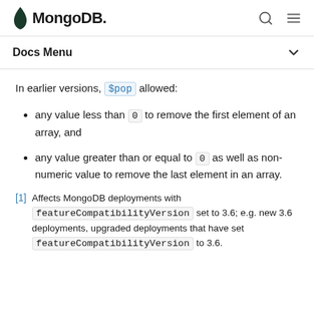MongoDB
Docs Menu
In earlier versions, $pop allowed:
any value less than 0 to remove the first element of an array, and
any value greater than or equal to 0 as well as non-numeric value to remove the last element in an array.
[1] Affects MongoDB deployments with featureCompatibilityVersion set to 3.6; e.g. new 3.6 deployments, upgraded deployments that have set featureCompatibilityVersion to 3.6.